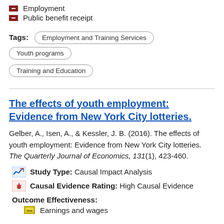Employment
Public benefit receipt
Tags: Employment and Training Services  Youth programs  Training and Education
The effects of youth employment: Evidence from New York City lotteries.
Gelber, A., Isen, A., & Kessler, J. B. (2016). The effects of youth employment: Evidence from New York City lotteries. The Quarterly Journal of Economics, 131(1), 423-460.
Study Type: Causal Impact Analysis
Causal Evidence Rating: High Causal Evidence
Outcome Effectiveness:
Earnings and wages